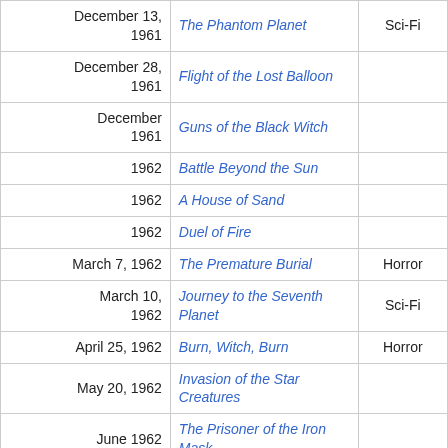| Date | Title | Genre |
| --- | --- | --- |
| December 13, 1961 | The Phantom Planet | Sci-Fi |
| December 28, 1961 | Flight of the Lost Balloon |  |
| December 1961 | Guns of the Black Witch |  |
| 1962 | Battle Beyond the Sun |  |
| 1962 | A House of Sand |  |
| 1962 | Duel of Fire |  |
| March 7, 1962 | The Premature Burial | Horror |
| March 10, 1962 | Journey to the Seventh Planet | Sci-Fi |
| April 25, 1962 | Burn, Witch, Burn | Horror |
| May 20, 1962 | Invasion of the Star Creatures |  |
| June 1962 | The Prisoner of the Iron Mask |  |
| July 4, 1962 | Tales of Terror | Horror |
| July 5, 1962 | Panic in Year Zero! |  |
| August 10, 1962 | The Brain That Wouldn't Die |  |
| August 1962 | Marco Polo |  |